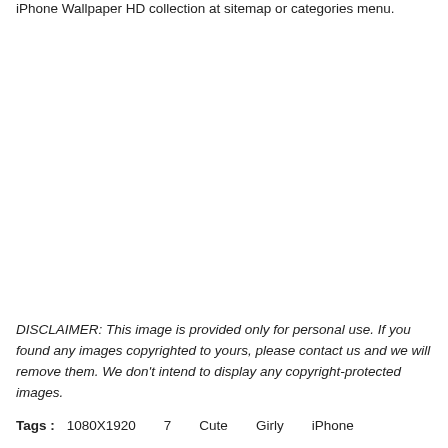iPhone Wallpaper HD collection at sitemap or categories menu.
DISCLAIMER: This image is provided only for personal use. If you found any images copyrighted to yours, please contact us and we will remove them. We don't intend to display any copyright-protected images.
Tags : 1080X1920 7 Cute Girly iPhone